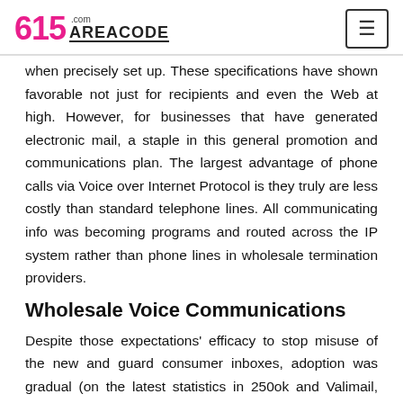615 AREACODE.com
when precisely set up. These specifications have shown favorable not just for recipients and even the Web at high. However, for businesses that have generated electronic mail, a staple in this general promotion and communications plan. The largest advantage of phone calls via Voice over Internet Protocol is they truly are less costly than standard telephone lines. All communicating info was becoming programs and routed across the IP system rather than phone lines in wholesale termination providers.
Wholesale Voice Communications
Despite those expectations' efficacy to stop misuse of the new and guard consumer inboxes, adoption was gradual (on the latest statistics in 250ok and Valimail, respectively).